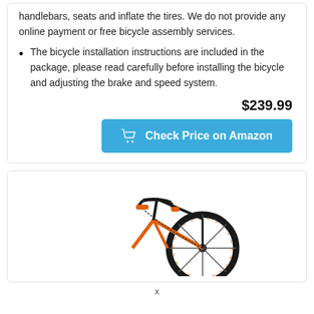handlebars, seats and inflate the tires. We do not provide any online payment or free bicycle assembly services.
The bicycle installation instructions are included in the package, please read carefully before installing the bicycle and adjusting the brake and speed system.
$239.99
Check Price on Amazon
[Figure (photo): Partial view of a bicycle showing the front wheel, handlebars, and orange frame against a white background]